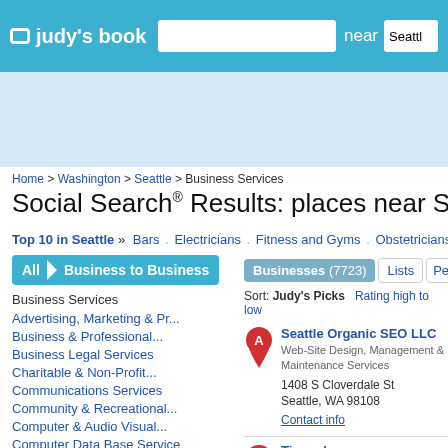judy's book | near Seattle
[Figure (screenshot): Ad banner area, light blue background]
Home > Washington > Seattle > Business Services
Social Search® Results: places near Seattle, WA (0.04...)
Top 10 in Seattle » Bars . Electricians . Fitness and Gyms . Obstetricians . More T
All  Business to Business
Business Services
Advertising, Marketing & Pr...
Business & Professional...
Business Legal Services
Charitable & Non-Profit...
Communications Services
Community & Recreational...
Computer & Audio Visual...
Computer Data Base Service
Businesses (7723)  Lists  Peo
Sort: Judy's Picks   Rating high to low
Seattle Organic SEO LLC
Web-Site Design, Management & Maintenance Services
1408 S Cloverdale St
Seattle, WA 98108
Contact info
Tinypulse